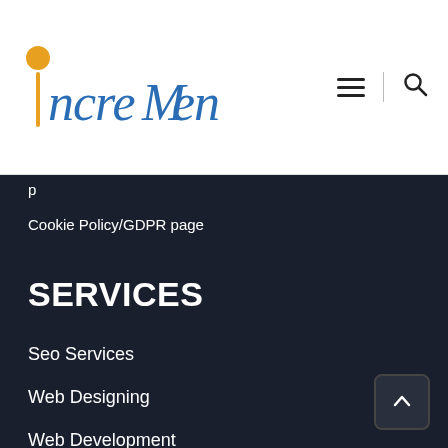[Figure (logo): IncreMentors logo with orange dot and blue script/sans text]
Cookie Policy/GDPR page
SERVICES
Seo Services
Web Designing
Web Development
Video Marketing
Graphic Designing